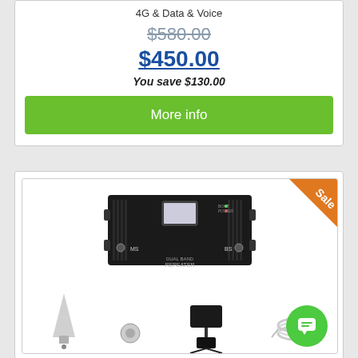4G & Data & Voice
$580.00
$450.00
You save $130.00
More info
[Figure (photo): Dual Band Repeater device (black box) with MS and BS antenna connectors, LCD display screen on front, plus accessories including antenna, power adapter, and cables. Orange 'Sale' ribbon in top-right corner.]